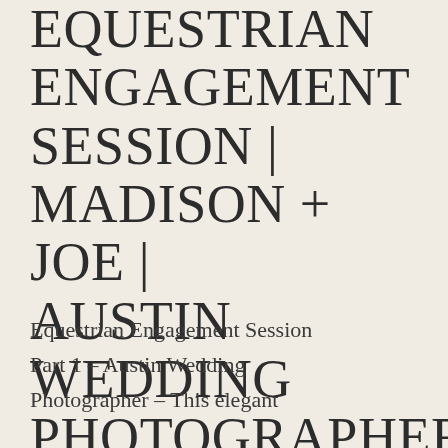EQUESTRIAN ENGAGEMENT SESSION | MADISON + JOE | AUSTIN WEDDING PHOTOGRAPHER
Equestrian Engagement Session Part 1 – Austin Wedding Photographer – This elegant